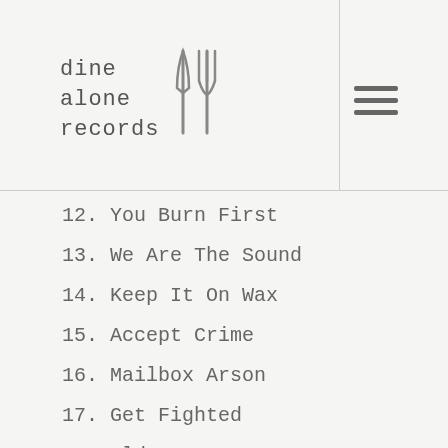dine alone records
12. You Burn First
13. We Are The Sound
14. Keep It On Wax
15. Accept Crime
16. Mailbox Arson
17. Get Fighted
18. Old Crows
19. The Northern
20. Dogs Blood
21. Accidents
22. Pulmonary Archery
23. This Could Be Anywhere In The World